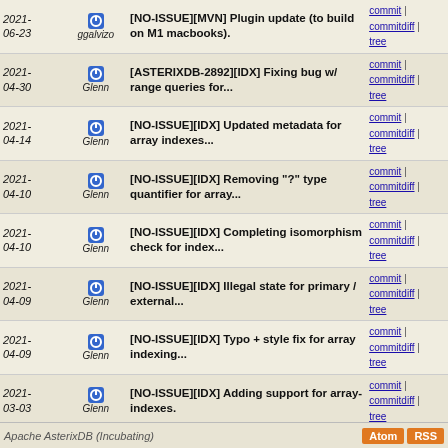| Date | Author | Message | Links |
| --- | --- | --- | --- |
| 2021-06-23 | ggalvizo | [NO-ISSUE][MVN] Plugin update (to build on M1 macbooks). | commit | commitdiff | tree |
| 2021-04-30 | Glenn | [ASTERIXDB-2892][IDX] Fixing bug w/ range queries for... | commit | commitdiff | tree |
| 2021-04-14 | Glenn | [NO-ISSUE][IDX] Updated metadata for array indexes... | commit | commitdiff | tree |
| 2021-04-10 | Glenn | [NO-ISSUE][IDX] Removing "?" type quantifier for array... | commit | commitdiff | tree |
| 2021-04-10 | Glenn | [NO-ISSUE][IDX] Completing isomorphism check for index... | commit | commitdiff | tree |
| 2021-04-09 | Glenn | [NO-ISSUE][IDX] Illegal state for primary / external... | commit | commitdiff | tree |
| 2021-04-09 | Glenn | [NO-ISSUE][IDX] Typo + style fix for array indexing... | commit | commitdiff | tree |
| 2021-03-03 | Glenn | [NO-ISSUE][IDX] Adding support for array-indexes. | commit | commitdiff | tree |
| 2020-10-05 | Glenn | [NO-ISSUE][TEST] Removing tests from only_sqlpp file | commit | commitdiff | tree |
| 2020-10-02 | Glenn | [NO ISSUE][COMP] Add equivalence support in DISTINCT... | commit | commitdiff | tree |
| 2020-10-01 | Glenn | [NO ISSUE][COMP] Make marked SELECTs immovable. | commit | commitdiff | tree |
| 2020-01-24 | Glenn | [ASTERIXDB-2566][TYPE][FUN] Added complete set of is_... | commit | commitdiff | tree |
Apache AsterixDB (Incubating)   Atom RSS